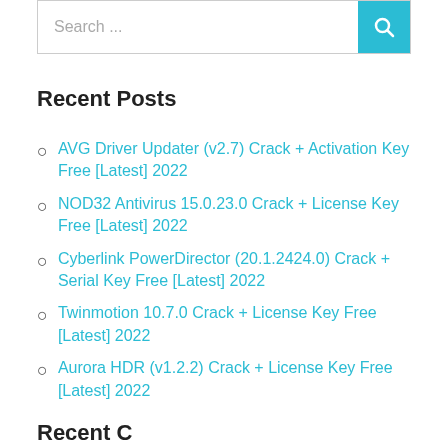Search ...
Recent Posts
AVG Driver Updater (v2.7) Crack + Activation Key Free [Latest] 2022
NOD32 Antivirus 15.0.23.0 Crack + License Key Free [Latest] 2022
Cyberlink PowerDirector (20.1.2424.0) Crack + Serial Key Free [Latest] 2022
Twinmotion 10.7.0 Crack + License Key Free [Latest] 2022
Aurora HDR (v1.2.2) Crack + License Key Free [Latest] 2022
Recent C